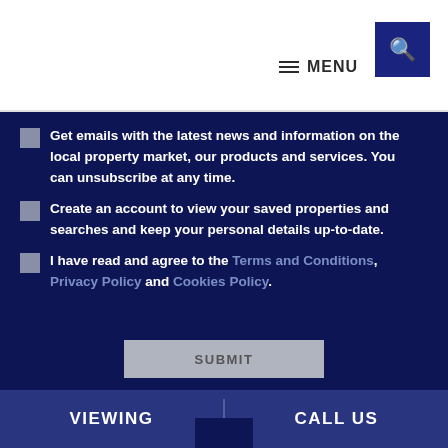MENU
Get emails with the latest news and information on the local property market, our products and services. You can unsubscribe at any time.
Create an account to view your saved properties and searches and keep your personal details up-to-date.
I have read and agree to the Terms and Conditions, Privacy Policy and Cookies Policy.
SUBMIT
VIEWING    CALL US